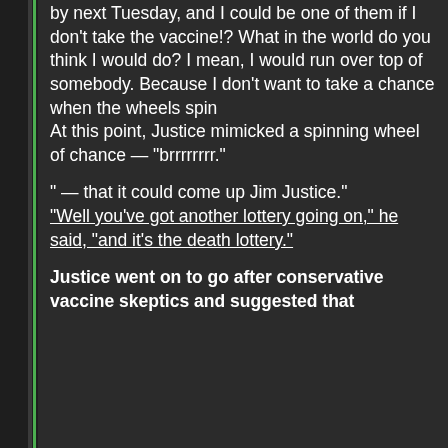by next Tuesday, and I could be one of them if I don't take the vaccine!? What in the world do you think I would do? I mean, I would run over top of somebody. Because I don't want to take a chance when the wheels spin At this point, Justice mimicked a spinning wheel of chance — "brrrrrrrr."
" — that it could come up Jim Justice." "Well you've got another lottery going on," he said, "and it's the death lottery."
Justice went on to go after conservative vaccine skeptics and suggested that